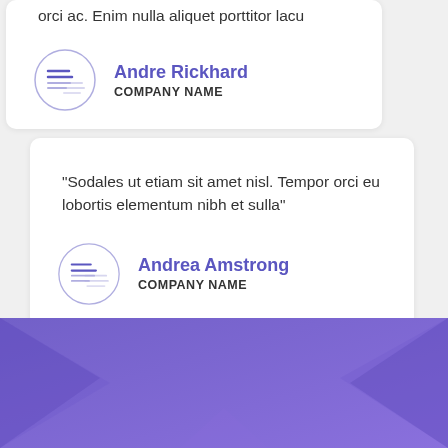orci ac. Enim nulla aliquet porttitor lacu
Andre Rickhard
COMPANY NAME
"Sodales ut etiam sit amet nisl. Tempor orci eu lobortis elementum nibh et sulla"
Andrea Amstrong
COMPANY NAME
[Figure (illustration): Purple decorative section with geometric triangle shapes at the bottom of the page]